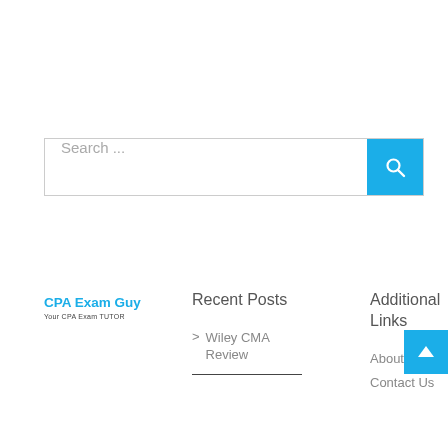[Figure (screenshot): Search bar with placeholder text 'Search ...' and a blue search button with magnifying glass icon]
[Figure (logo): CPA Exam Guy logo with tagline 'Your CPA Exam TUTOR']
Recent Posts
Additional Links
Wiley CMA Review
About Me
Contact Us